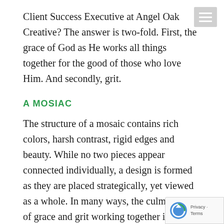Client Success Executive at Angel Oak Creative? The answer is two-fold. First, the grace of God as He works all things together for the good of those who love Him. And secondly, grit.
A MOSIAC
The structure of a mosaic contains rich colors, harsh contrast, rigid edges and beauty. While no two pieces appear connected individually, a design is formed as they are placed strategically, yet viewed as a whole. In many ways, the culmination of grace and grit working together is comparable to a mosaic.
Each season of life brings a rich pigment to our journey. One season may contrast the other, though